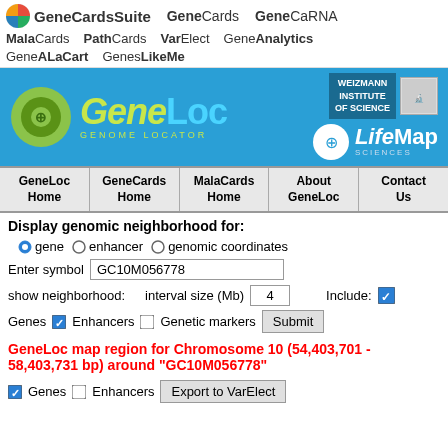GeneCardsSuite  GeneCards  GeneCaRNA  MalaCards  PathCards  VarElect  GeneAnalytics  GeneALaCart  GenesLikeMe
[Figure (screenshot): GeneLoc Genome Locator banner with Weizmann Institute of Science and LifeMap Sciences logos]
GeneLoc Home | GeneCards Home | MalaCards Home | About GeneLoc | Contact Us
Display genomic neighborhood for:
gene  enhancer  genomic coordinates
Enter symbol  GC10M056778
show neighborhood:    interval size (Mb)  4    Include:
Genes  Enhancers  Genetic markers  Submit
GeneLoc map region for Chromosome 10 (54,403,701 - 58,403,731 bp) around "GC10M056778"
Genes  Enhancers  Export to VarElect